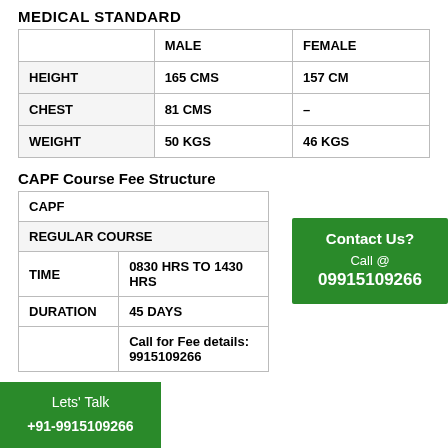MEDICAL STANDARD
|  | MALE | FEMALE |
| --- | --- | --- |
| HEIGHT | 165 CMS | 157 CM |
| CHEST | 81 CMS | – |
| WEIGHT | 50 KGS | 46 KGS |
CAPF Course Fee Structure
| CAPF |  |
| --- | --- |
| REGULAR COURSE |  |
| TIME | 0830 HRS TO 1430 HRS |
| DURATION | 45 DAYS |
|  | Call for Fee details: 9915109266 |
Contact Us? Call @ 09915109266
Lets' Talk +91-9915109266